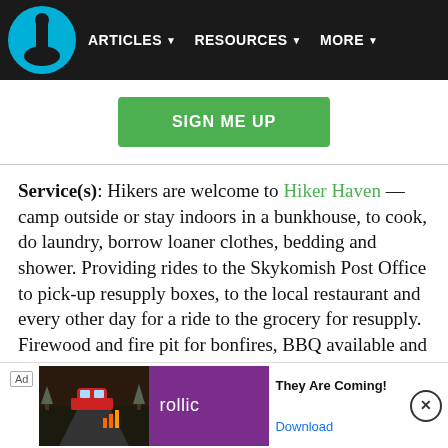ARTICLES ▾  RESOURCES ▾  MORE ▾
[Figure (screenshot): Green 'SIGN ME UP' button centered on white background]
Service(s): Hikers are welcome to Hiker Haven — camp outside or stay indoors in a bunkhouse, to cook, do laundry, borrow loaner clothes, bedding and shower. Providing rides to the Skykomish Post Office to pick-up resupply boxes, to the local restaurant and every other day for a ride to the grocery for resupply. Firewood and fire pit for bonfires, BBQ available and burgers usually available from Jerry. Donations are appreciated to keep things running.
Dates
[Figure (screenshot): Ad banner: Rollic game ad with 'They Are Coming!' tagline and Download link, with close (x) button]